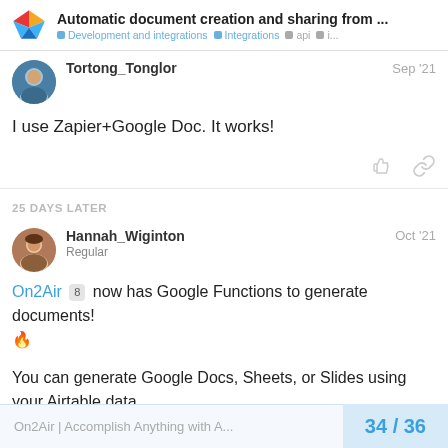Automatic document creation and sharing from ... | Development and integrations | Integrations | api | i...
Tortong_Tonglor Sep '21
I use Zapier+Google Doc. It works!
25 DAYS LATER
Hannah_Wiginton Oct '21
Regular
On2Air 8 now has Google Functions to generate documents! 🔥
You can generate Google Docs, Sheets, or Slides using your Airtable data.
34 / 36